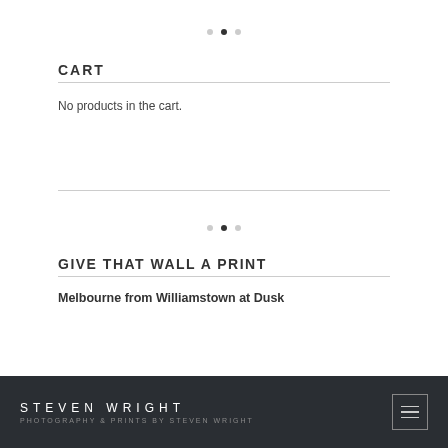[Figure (other): Pagination dots indicator — three dots, second filled/active, first and third outline/inactive]
CART
No products in the cart.
[Figure (other): Pagination dots indicator — three dots, second filled/active, first and third outline/inactive]
GIVE THAT WALL A PRINT
Melbourne from Williamstown at Dusk
STEVEN WRIGHT
PHOTOGRAPHY & PRINTS BY STEVEN WRIGHT